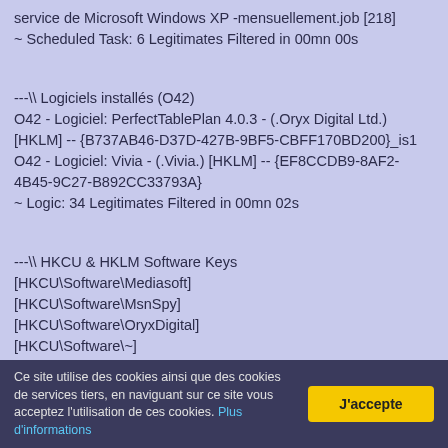service de Microsoft Windows XP -mensuellement.job [218]
~ Scheduled Task: 6 Legitimates Filtered in 00mn 00s
---\\ Logiciels installés (O42)
O42 - Logiciel: PerfectTablePlan 4.0.3 - (.Oryx Digital Ltd.) [HKLM] -- {B737AB46-D37D-427B-9BF5-CBFF170BD200}_is1
O42 - Logiciel: Vivia - (.Vivia.) [HKLM] -- {EF8CCDB9-8AF2-4B45-9C27-B892CC33793A}
~ Logic: 34 Legitimates Filtered in 00mn 02s
---\\ HKCU & HKLM Software Keys
[HKCU\Software\Mediasoft]
[HKCU\Software\MsnSpy]
[HKCU\Software\OryxDigital]
[HKCU\Software\~]
Ce site utilise des cookies ainsi que des cookies de services tiers, en naviguant sur ce site vous acceptez l'utilisation de ces cookies. Plus d'informations